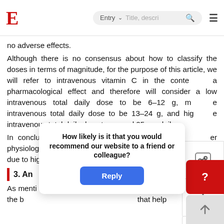E  Entry  [search]
no adverse effects.
Although there is no consensus about how to classify the doses in terms of magnitude, for the purpose of this article, we will refer to intravenous vitamin C in the context of a pharmacological effect and therefore will consider a low intravenous total daily dose to be 6–12 g, moderate intravenous total daily dose to be 13–24 g, and high-dose intravenous total daily dose to exceed 25 gm daily.
In conclusion, high-dose IV vitamin C will provide greater physiological effects leading to improved clinical outcomes due to higher concentrations while being safe and nontoxic.
3. An[ticancer Effects of Vitamin C]
As mentioned [previously, intravenous vitamin C is effective] for the [body... that help
[Figure (screenshot): Survey popup: 'How likely is it that you would recommend our website to a friend or colleague?' with a Reply button]